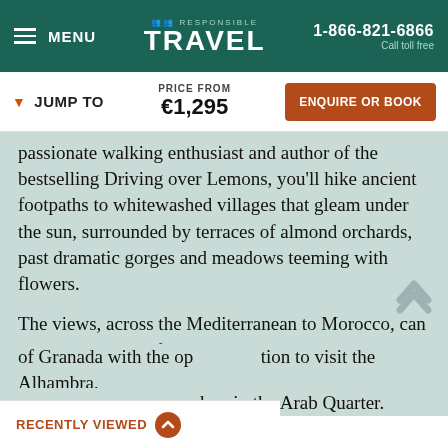MENU | RESPONSIBLE TRAVEL | 1-866-821-6866 Call toll free
▼ JUMP TO | PRICE FROM €1,295 | ENQUIRE OR BOOK
passionate walking enthusiast and author of the bestselling Driving over Lemons, you'll hike ancient footpaths to whitewashed villages that gleam under the sun, surrounded by terraces of almond orchards, past dramatic gorges and meadows teeming with flowers.

The views, across the Mediterranean to Morocco, can be nothing short of breathtaking. One day also gives you the option EITHER to spend a day roaming the medieval Moorish city of Granada with the option to visit the Alhambra, hop in the Arab Quarter.
RECENTLY VIEWED